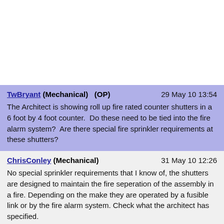TwBryant (Mechanical)  (OP)   29 May 10 13:54
The Architect is showing roll up fire rated counter shutters in a 6 foot by 4 foot counter.  Do these need to be tied into the fire alarm system?  Are there special fire sprinkler requirements at these shutters?
ChrisConley (Mechanical)   31 May 10 12:26
No special sprinkler requirements that I know of, the shutters are designed to maintain the fire seperation of the assembly in a fire. Depending on the make they are operated by a fusible link or by the fire alarm system. Check what the architect has specified.

I'd also consider cross-posting over to the NFPA forum.

http://www.eng-tips.com/threadminder.cfm?pid=184

Quite a group of fire experts over there.